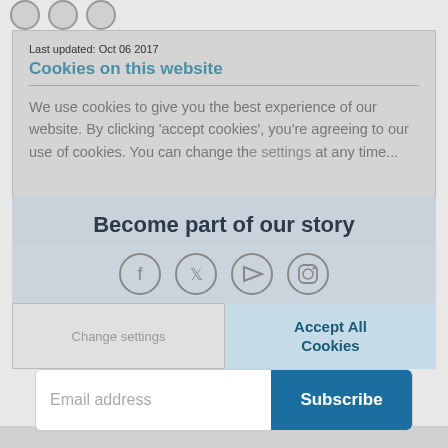[Figure (other): Three circular social media icons at top of page]
Last updated: Oct 06 2017
Cookies on this website
We use cookies to give you the best experience of our website. By clicking ‘accept cookies’, you’re agreeing to our use of cookies. You can change th[e settings] at any time...
Become part of our story
[Figure (other): Social media icons: Facebook, Twitter, YouTube, Instagram]
Change settings
Accept All Cookies
Sign up today
Email address
Subscribe